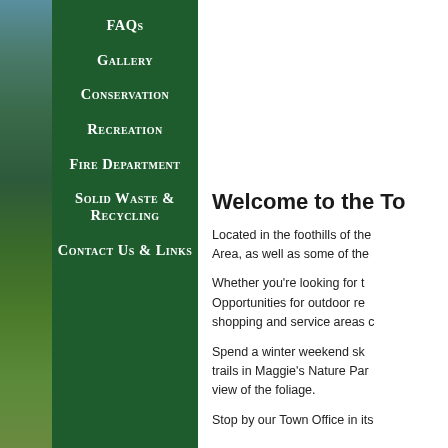FAQs
Gallery
Conservation
Recreation
Fire Department
Solid Waste & Recycling
Contact Us & Links
Welcome to the To
Located in the foothills of the Area, as well as some of the
Whether you're looking for the Opportunities for outdoor re shopping and service areas c
Spend a winter weekend sk trails in Maggie's Nature Par view of the foliage.
Stop by our Town Office in its